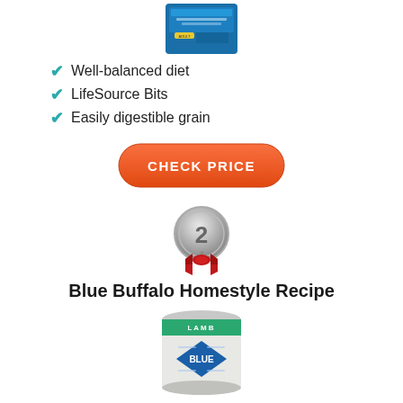[Figure (photo): Blue Buffalo Life Protection Formula Adult dog food bag (blue packaging), partially visible at top]
Well-balanced diet
LifeSource Bits
Easily digestible grain
[Figure (illustration): Orange rounded rectangle button labeled CHECK PRICE]
[Figure (illustration): Silver #2 medal with red ribbon rosette]
Blue Buffalo Homestyle Recipe
[Figure (photo): Blue Buffalo Homestyle Recipe Lamb canned dog food, silver/green can with blue diamond label, partially cut off at bottom]